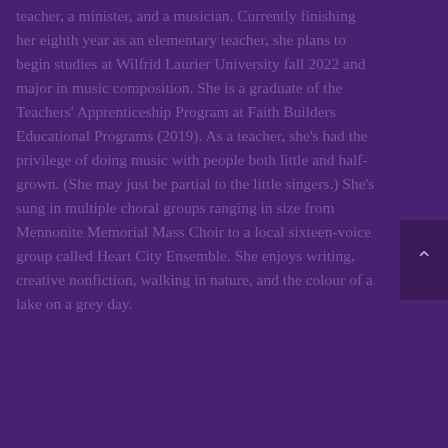teacher, a minister, and a musician. Currently finishing her eighth year as an elementary teacher, she plans to begin studies at Wilfrid Laurier University fall 2022 and major in music composition. She is a graduate of the Teachers' Apprenticeship Program at Faith Builders Educational Programs (2019). As a teacher, she's had the privilege of doing music with people both little and half-grown. (She may just be partial to the little singers.) She's sung in multiple choral groups ranging in size from Mennonite Memorial Mass Choir to a local sixteen-voice group called Heart City Ensemble. She enjoys writing, creative nonfiction, walking in nature, and the colour of a lake on a grey day.